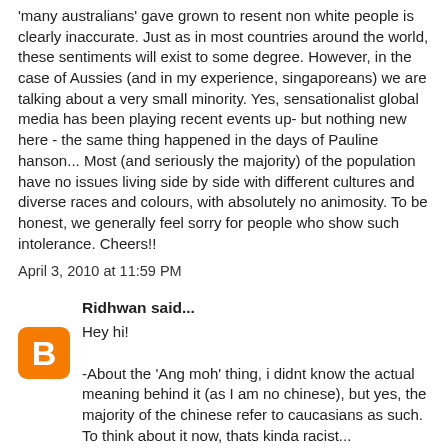'many australians' gave grown to resent non white people is clearly inaccurate. Just as in most countries around the world, these sentiments will exist to some degree. However, in the case of Aussies (and in my experience, singaporeans) we are talking about a very small minority. Yes, sensationalist global media has been playing recent events up- but nothing new here - the same thing happened in the days of Pauline hanson... Most (and seriously the majority) of the population have no issues living side by side with different cultures and diverse races and colours, with absolutely no animosity. To be honest, we generally feel sorry for people who show such intolerance. Cheers!!
April 3, 2010 at 11:59 PM
Ridhwan said...
[Figure (logo): Blogger 'B' logo icon — orange rounded square with white B]
Hey hi!

-About the 'Ang moh' thing, i didnt know the actual meaning behind it (as I am no chinese), but yes, the majority of the chinese refer to caucasians as such. To think about it now, thats kinda racist...